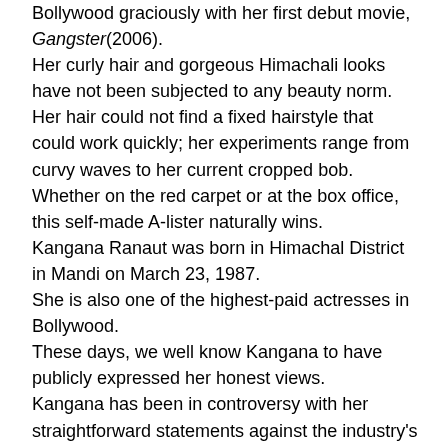Bollywood graciously with her first debut movie, Gangster(2006). Her curly hair and gorgeous Himachali looks have not been subjected to any beauty norm. Her hair could not find a fixed hairstyle that could work quickly; her experiments range from curvy waves to her current cropped bob. Whether on the red carpet or at the box office, this self-made A-lister naturally wins. Kangana Ranaut was born in Himachal District in Mandi on March 23, 1987. She is also one of the highest-paid actresses in Bollywood. These days, we well know Kangana to have publicly expressed her honest views. Kangana has been in controversy with her straightforward statements against the industry's dark insights. In the upcoming movies like Tejas, Dhaakad, and Tiku Weds Sheru, it looks like this most beautiful Indian actress ain't going